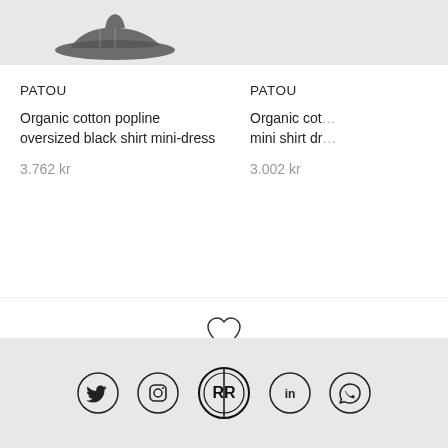[Figure (photo): Product image of PATOU black shoes/dress - partially visible, cropped at top]
PATOU
Organic cotton popline oversized black shirt mini-dress
3.762 kr
[Figure (photo): Product image of PATOU item - partially visible, cropped at top right]
PATOU
Organic cot... mini shirt dr...
3.002 kr
[Figure (illustration): Heart outline icon]
The latest trends
The best pieces straight from the runways
[Figure (other): Carousel dots navigation: 4 dots, first filled/active]
[Figure (logo): Social media icons row: Twitter, Instagram, RR logo, LinkedIn, WhatsApp]